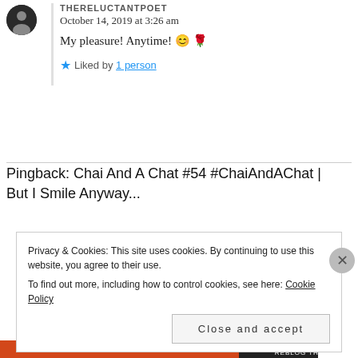October 14, 2019 at 3:26 am
My pleasure! Anytime! 😊 🌹
Liked by 1 person
Pingback: Chai And A Chat #54 #ChaiAndAChat | But I Smile Anyway...
Privacy & Cookies: This site uses cookies. By continuing to use this website, you agree to their use. To find out more, including how to control cookies, see here: Cookie Policy
Close and accept